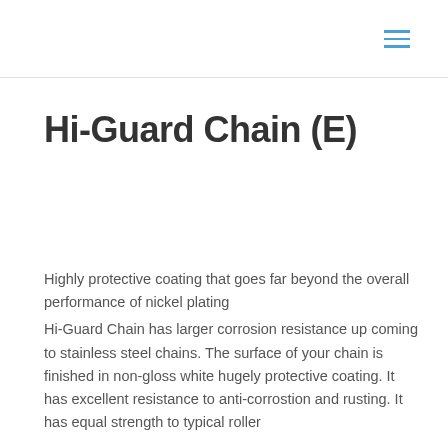Hi-Guard Chain (E)
Highly protective coating that goes far beyond the overall performance of nickel plating Hi-Guard Chain has larger corrosion resistance up coming to stainless steel chains. The surface of your chain is finished in non-gloss white hugely protective coating. It has excellent resistance to anti-corrostion and rusting. It has equal strength to typical roller